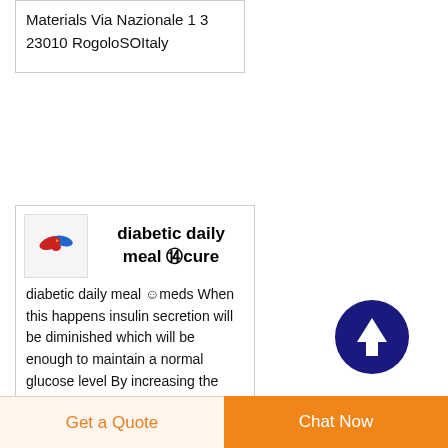Materials Via Nazionale 1 3 23010 RogoloSOItaly
[Figure (logo): Logo with red and blue bird/cross symbol on light background]
diabetic daily meal 🍽cure
diabetic daily meal 😊meds When this happens insulin secretion will be diminished which will be enough to maintain a normal glucose level By increasing the insulin sensitivity the beta cells will not have to work as hard 1 hour and lasts for 2 hours The test is preceded by venesection before the
[Figure (other): Dark blue circular scroll-to-top arrow button]
Get a Quote
Chat Now